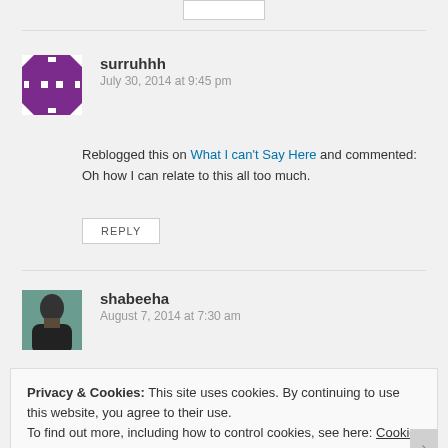[Figure (screenshot): Top partial reply button area at top of page]
surruhhh
July 30, 2014 at 9:45 pm
Reblogged this on What I can't Say Here and commented:
Oh how I can relate to this all too much.
REPLY
shabeeha
August 7, 2014 at 7:30 am
Privacy & Cookies: This site uses cookies. By continuing to use this website, you agree to their use.
To find out more, including how to control cookies, see here: Cookie Policy
Close and accept